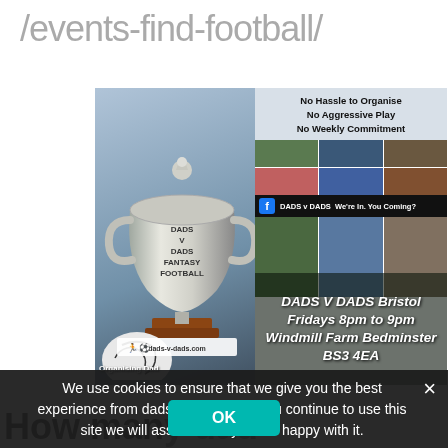/events-find-football/
[Figure (infographic): DADS v DADS Fantasy Football promotional image showing a trophy, football team photos, and event details: DADS V DADS Bristol, Fridays 8pm to 9pm, Windmill Farm Bedminster BS3 4EA. No Hassle to Organise, No Aggressive Play, No Weekly Commitment. Facebook: DADS v DADS We're In. You Coming? Organising Dad.]
We use cookies to ensure that we give you the best experience from dadsvdads.com. If you continue to use this site we will assume that you are happy with it.
OK
How many dads do you need?